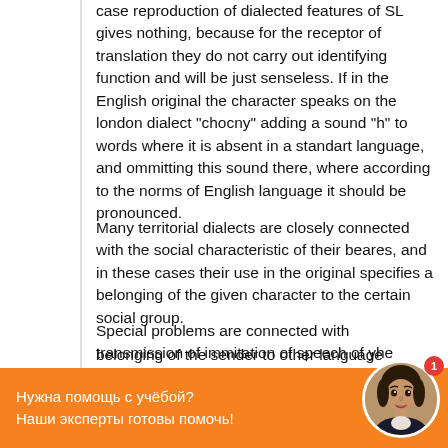case reproduction of dialected features of SL gives nothing, because for the receptor of translation they do not carry out identifying function and will be just senseless. If in the English original the character speaks on the london dialect "chocny" adding a sound "h" to words where it is absent in a standart language, and ommitting this sound there, where according to the norms of English language it should be pronounced.
Many territorial dialects are closely connected with the social characteristic of their beares, and in these cases their use in the original specifies a belonging of the given character to the certain social group.
Special problems are connected with transmission of immitation of speech of yhe foreigner conyaining in the original in translation. The presence of such forms in the original message may be involuntary or measured.
belonging of the sender to other language collective. In
[Figure (other): Orange banner at the bottom with Russian text 'Нужна помощь с учёбой? Наши эксперты готовы помочь!' and a circular avatar photo of a woman on the right with a red notification badge showing '1'.]